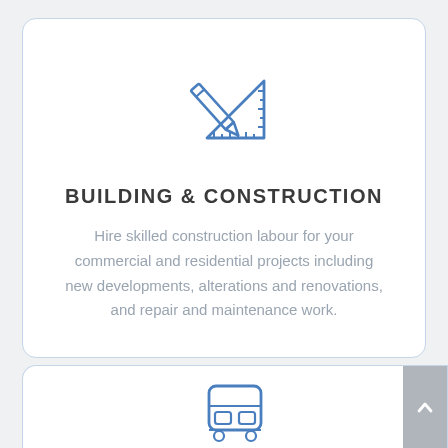[Figure (illustration): Blue outline icon of a pencil and set square/triangle ruler drafting tools]
BUILDING & CONSTRUCTION
Hire skilled construction labour for your commercial and residential projects including new developments, alterations and renovations, and repair and maintenance work.
[Figure (illustration): Blue outline icon of a bus/tram vehicle, partially visible at bottom of page]